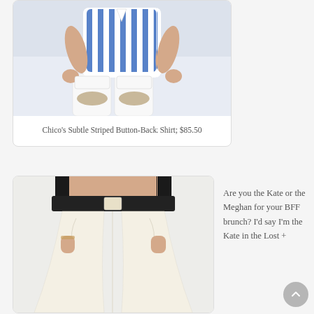[Figure (photo): Woman wearing a blue and white striped button-back shirt with white pants and beige flat shoes, seated on a white surface. Product photo for Chico's Subtle Striped Button-Back Shirt.]
Chico's Subtle Striped Button-Back Shirt; $85.50
[Figure (photo): Close-up product photo of wide-leg cream/white trousers with a black waistband and belted detail, worn with hands in pockets.]
Are you the Kate or the Meghan for your BFF brunch? I'd say I'm the Kate in the Lost +